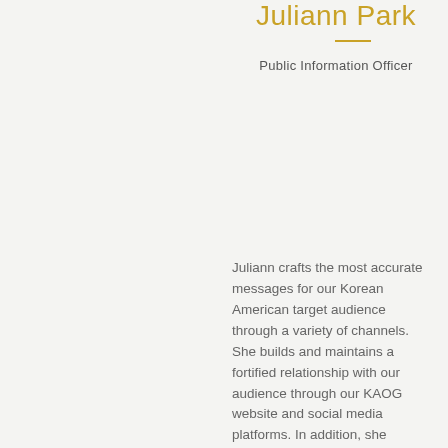Juliann Park
Public Information Officer
Juliann crafts the most accurate messages for our Korean American target audience through a variety of channels. She builds and maintains a fortified relationship with our audience through our KAOG website and social media platforms. In addition, she integrates print and digital layouts to attract and inform the Korean American community. Her desire to get more personally involved with her Korean community and her love for helping others serves well in accomplishing the goals of KAOG.
Sh…
Ch…
Shu-T… with g… daily … nutrie… with a… dietit… Her m… assoc… direc… violen… suicid… amon… centr… profe… organ… interp… KAOG… conne… spea…